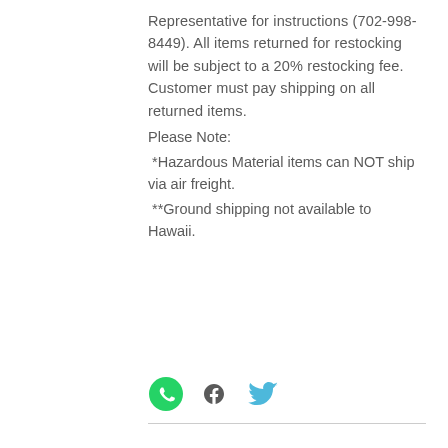Representative for instructions (702-998-8449). All items returned for restocking will be subject to a 20% restocking fee. Customer must pay shipping on all returned items.
Please Note:
*Hazardous Material items can NOT ship via air freight.
**Ground shipping not available to Hawaii.
[Figure (other): Social media icons: WhatsApp (green), Facebook (dark gray), Twitter (blue)]